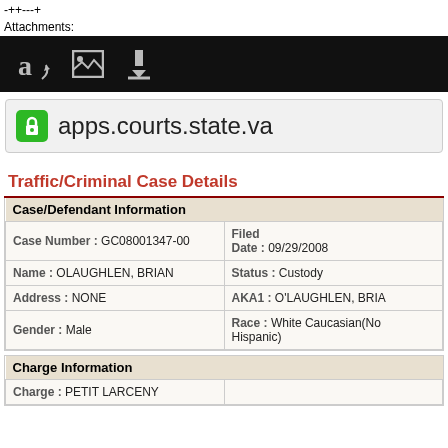-++---+
Attachments:
[Figure (screenshot): Browser toolbar with dark background showing Amazon, image, and download icons]
[Figure (screenshot): Browser address bar with green lock icon showing URL: apps.courts.state.va...]
Traffic/Criminal Case Details
| Case/Defendant Information |
| --- |
| Case Number : GC08001347-00 | Filed Date : 09/29/2008 |
| Name : OLAUGHLEN, BRIAN | Status : Custody |
| Address : NONE | AKA1 : O'LAUGHLEN, BRIAN |
| Gender : Male | Race : White Caucasian(No Hispanic) |
| Charge Information |
| --- |
| Charge : PETIT LARCENY |  |